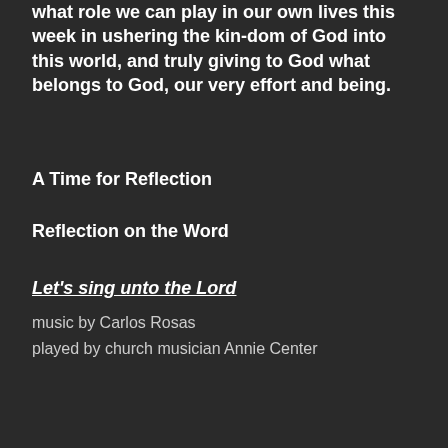what role we can play in our own lives this week in ushering the kin-dom of God into this world, and truly giving to God what belongs to God, our very effort and being.
A Time for Reflection
Reflection on the Word
Let's sing unto the Lord
music by Carlos Rosas
played by church musician Annie Center